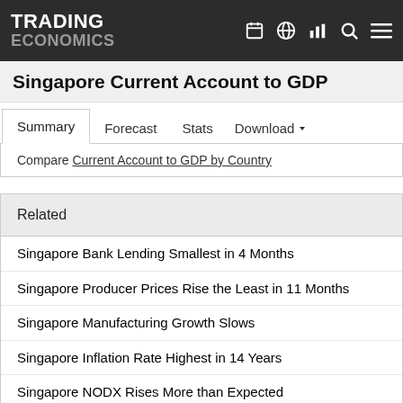TRADING ECONOMICS
Singapore Current Account to GDP
Summary | Forecast | Stats | Download
Compare Current Account to GDP by Country
Related
Singapore Bank Lending Smallest in 4 Months
Singapore Producer Prices Rise the Least in 11 Months
Singapore Manufacturing Growth Slows
Singapore Inflation Rate Highest in 14 Years
Singapore NODX Rises More than Expected
Singapore Q2 GDP Annual Growth Revised Downward
Singapore Tightens Further Monetary Policy